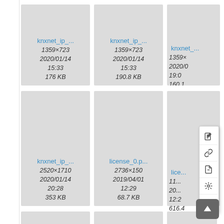[Figure (screenshot): File browser/media gallery showing file thumbnails in a grid layout. Each card shows filename, dimensions, date, time, and file size. Row 1 (partial top): knxnet_ip_... 1359×723 2020/01/14 15:33 176 KB; knxnet_ip_... 1359×723 2020/01/14 15:33 190.8 KB; knxnet_... 1359× 2020/0 19:0 160.1. Row 2: knxnet_ip_... 2520×1710 2020/01/14 20:28 353 KB; license_0.p... 2736×150 2019/04/01 12:29 68.7 KB; lice... with context menu showing edit/link/pdf/install/plugin icons. Row 3: three partial cards at bottom. Back-to-top button visible.]